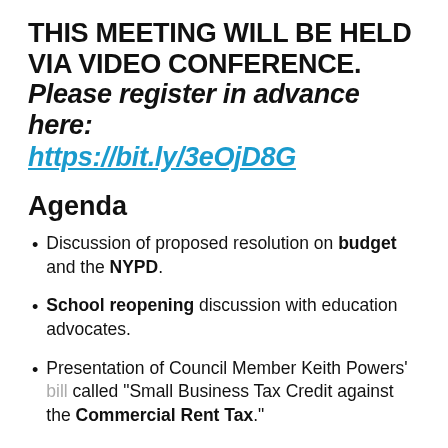THIS MEETING WILL BE HELD VIA VIDEO CONFERENCE. Please register in advance here: https://bit.ly/3eOjD8G
Agenda
Discussion of proposed resolution on budget and the NYPD.
School reopening discussion with education advocates.
Presentation of Council Member Keith Powers' bill called "Small Business Tax Credit against the Commercial Rent Tax."